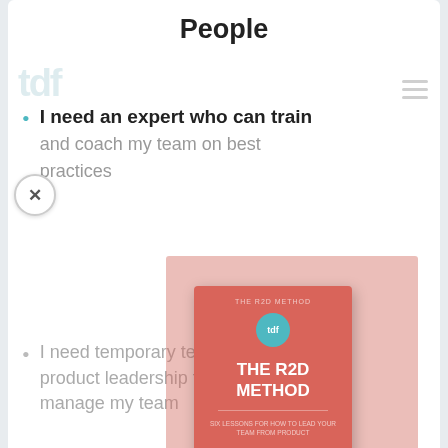People
I need an expert who can train and coach my team on best practices
[Figure (illustration): Book cover for 'The R2D Method' with a teal logo circle on a red/coral background, overlaid on a pink semi-transparent popup rectangle]
I need temporary technical or product leadership to help manage my team
I need to augment my team with additional designers and engineers
Plan, Build, and Launch Digital Products the Right Way.
Download your copy of The R2D Method, six lessons for how to lead your team from product